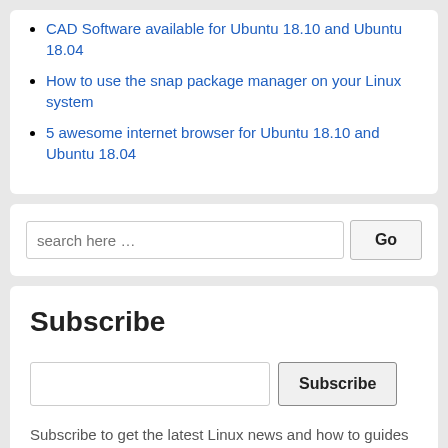CAD Software available for Ubuntu 18.10 and Ubuntu 18.04
How to use the snap package manager on your Linux system
5 awesome internet browser for Ubuntu 18.10 and Ubuntu 18.04
search here …
Subscribe
Subscribe to get the latest Linux news and how to guides directly on your e-mail!